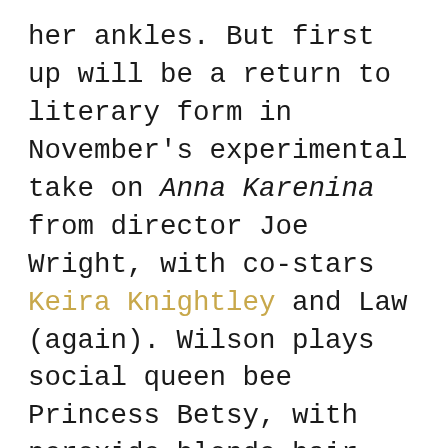her ankles. But first up will be a return to literary form in November's experimental take on Anna Karenina from director Joe Wright, with co-stars Keira Knightley and Law (again). Wilson plays social queen bee Princess Betsy, with peroxide-blonde hair, brows dyed to match, and geisha-inspired costumes created using McQueen references that the actress herself pulled from runway shots. “Joe has taken quite a wild stance,” she explains, citing the adaptation’s unusual shoot in a run-down theater that transforms into multiple